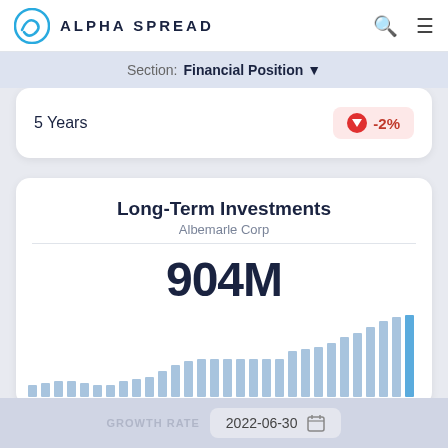ALPHA SPREAD
Section: Financial Position
5 Years  -2%
Long-Term Investments
Albemarle Corp
904M
[Figure (bar-chart): Long-Term Investments - Albemarle Corp]
GROWTH RATE
2022-06-30